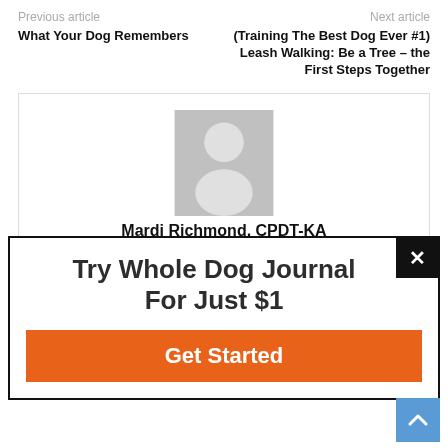Previous article   Next article
What Your Dog Remembers
(Training The Best Dog Ever #1) Leash Walking: Be a Tree – the First Steps Together
[Figure (illustration): Author avatar placeholder — grey silhouette of a person on grey background]
Mardi Richmond, CPDT-KA
Try Whole Dog Journal For Just $1
Get Started